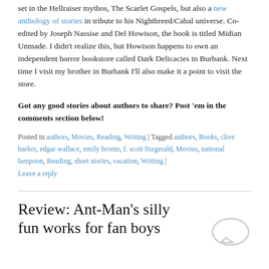set in the Hellraiser mythos, The Scarlet Gospels, but also a new anthology of stories in tribute to his Nightbreed/Cabal universe. Co-edited by Joseph Nassise and Del Howison, the book is titled Midian Unmade. I didn't realize this, but Howison happens to own an independent horror bookstore called Dark Delicacies in Burbank. Next time I visit my brother in Burbank I'll also make it a point to visit the store.
Got any good stories about authors to share? Post 'em in the comments section below!
Posted in authors, Movies, Reading, Writing | Tagged authors, Books, clive barker, edgar wallace, emily bronte, f. scott fitzgerald, Movies, national lampoon, Reading, short stories, vacation, Writing | Leave a reply
Review: Ant-Man's silly fun works for fan boys